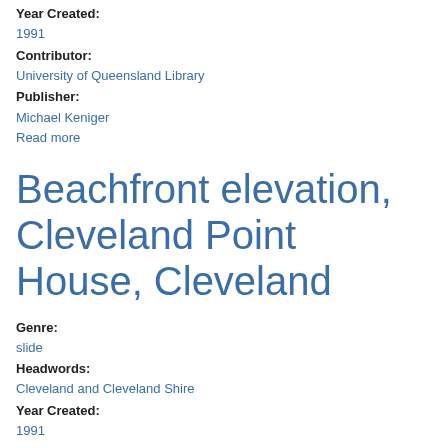Year Created:
1991
Contributor:
University of Queensland Library
Publisher:
Michael Keniger
Read more
Beachfront elevation, Cleveland Point House, Cleveland
Genre:
slide
Headwords:
Cleveland and Cleveland Shire
Year Created:
1991
Contributor:
University of Queensland Library
Publisher: